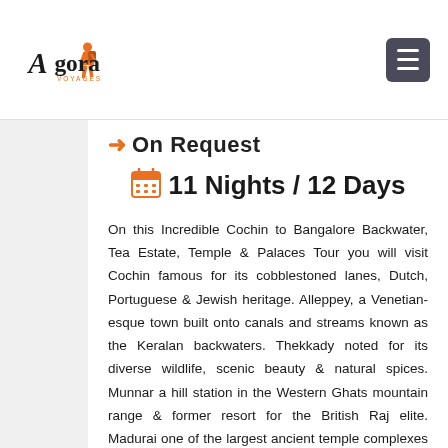[Figure (logo): Agora Voyages logo with orange backpacker figure and stylized text]
On Request
11 Nights / 12 Days
On this Incredible Cochin to Bangalore Backwater, Tea Estate, Temple & Palaces Tour you will visit Cochin famous for its cobblestoned lanes, Dutch, Portuguese & Jewish heritage. Alleppey, a Venetian-esque town built onto canals and streams known as the Keralan backwaters. Thekkady noted for its diverse wildlife, scenic beauty & natural spices. Munnar a hill station in the Western Ghats mountain range & former resort for the British Raj elite. Madurai one of the largest ancient temple complexes and shrines that truly showcase its spiritual wealth and past glory. Coimbatore & Ooty